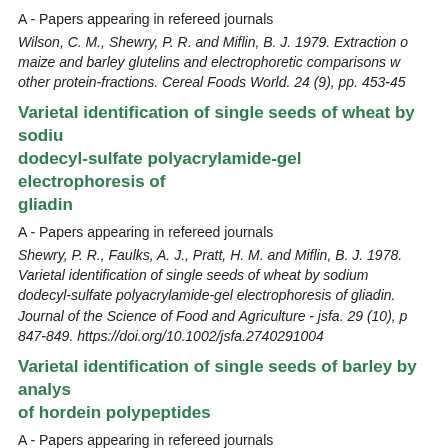A - Papers appearing in refereed journals
Wilson, C. M., Shewry, P. R. and Miflin, B. J. 1979. Extraction of maize and barley glutelins and electrophoretic comparisons with other protein-fractions. Cereal Foods World. 24 (9), pp. 453-45
Varietal identification of single seeds of wheat by sodium dodecyl-sulfate polyacrylamide-gel electrophoresis of gliadin
A - Papers appearing in refereed journals
Shewry, P. R., Faulks, A. J., Pratt, H. M. and Miflin, B. J. 1978. Varietal identification of single seeds of wheat by sodium dodecyl-sulfate polyacrylamide-gel electrophoresis of gliadin. Journal of the Science of Food and Agriculture - jsfa. 29 (10), p 847-849. https://doi.org/10.1002/jsfa.2740291004
Varietal identification of single seeds of barley by analysis of hordein polypeptides
A - Papers appearing in refereed journals
Shewry, P. R., Pratt, H. M. and Miflin, B. J. 1978. Varietal identification of single seeds of barley by analysis of hordein